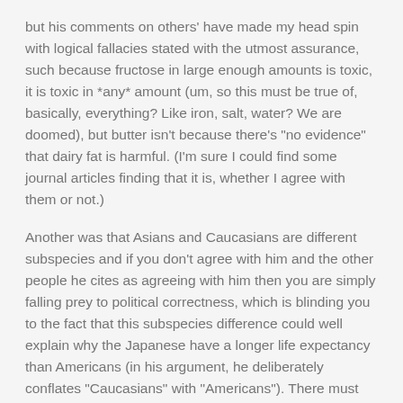but his comments on others' have made my head spin with logical fallacies stated with the utmost assurance, such because fructose in large enough amounts is toxic, it is toxic in *any* amount (um, so this must be true of, basically, everything? Like iron, salt, water? We are doomed), but butter isn't because there's "no evidence" that dairy fat is harmful. (I'm sure I could find some journal articles finding that it is, whether I agree with them or not.)
Another was that Asians and Caucasians are different subspecies and if you don't agree with him and the other people he cites as agreeing with him then you are simply falling prey to political correctness, which is blinding you to the fact that this subspecies difference could well explain why the Japanese have a longer life expectancy than Americans (in his argument, he deliberately conflates "Caucasians" with "Americans"). There must be *some* explanation why a high-carb diet isn't harmful to some people, other than that a high-carb diet might not be harmful! But maybe he ought then to have a disclaimer on his blog,